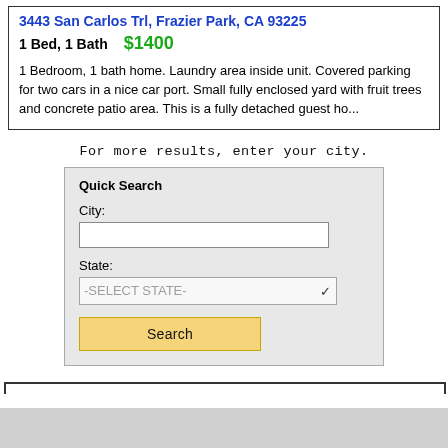3443 San Carlos Trl, Frazier Park, CA 93225
1 Bed, 1 Bath   $1400
1 Bedroom, 1 bath home. Laundry area inside unit. Covered parking for two cars in a nice car port. Small fully enclosed yard with fruit trees and concrete patio area. This is a fully detached guest ho...
For more results, enter your city.
Quick Search
City:
State:
-SELECT STATE-
Search